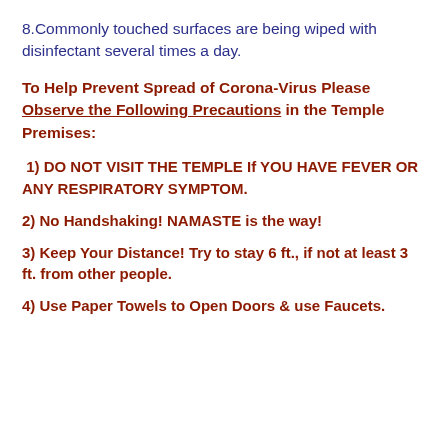8.Commonly touched surfaces are being wiped with disinfectant several times a day.
To Help Prevent Spread of Corona-Virus Please Observe the Following Precautions in the Temple Premises:
1) DO NOT VISIT THE TEMPLE If YOU HAVE FEVER OR ANY RESPIRATORY SYMPTOM.
2) No Handshaking! NAMASTE is the way!
3) Keep Your Distance! Try to stay 6 ft., if not at least 3 ft. from other people.
4) Use Paper Towels to Open Doors & use Faucets.